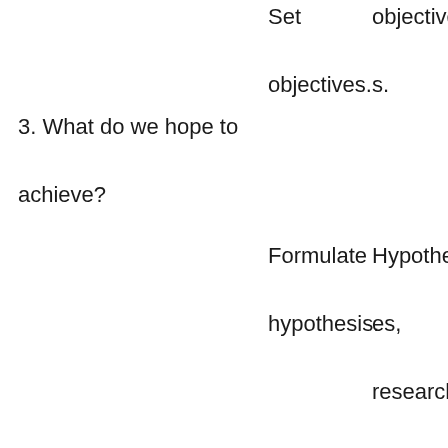Set objectives.
objectives.
3. What do we hope to achieve?
Formulate hypothesis.
Hypotheses, research questions Variables.
Types of study